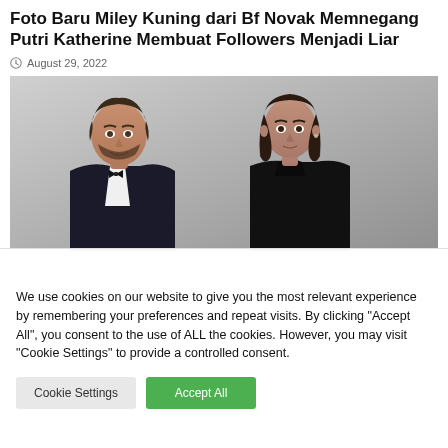Foto Baru Miley Kuning dari Bf Novak Memnegang Putri Katherine Membuat Followers Menjadi Liar
August 29, 2022
[Figure (photo): A man in a tuxedo with bow tie and a woman in a black turtleneck standing together at what appears to be a formal event, in front of a silver/grey background.]
We use cookies on our website to give you the most relevant experience by remembering your preferences and repeat visits. By clicking “Accept All”, you consent to the use of ALL the cookies. However, you may visit "Cookie Settings" to provide a controlled consent.